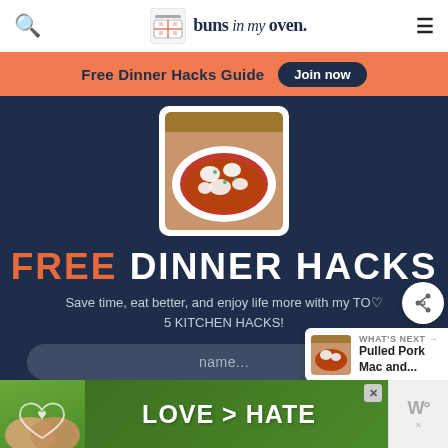buns in my oven.
Free Dinner Hacks Guide  Join now
[Figure (photo): Bowl of food with white cheese topping, tomato sauce, on a white plate, food photo]
FREE DINNER HACKS
Save time, eat better, and enjoy life more with my TOP 5 KITCHEN HACKS!
name...
email...
WHAT'S NEXT → Pulled Pork Mac and...
LOVE > HATE